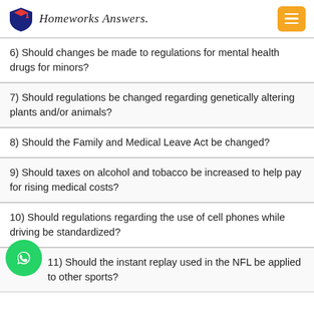Homeworks Answers.
6) Should changes be made to regulations for mental health drugs for minors?
7) Should regulations be changed regarding genetically altering plants and/or animals?
8) Should the Family and Medical Leave Act be changed?
9) Should taxes on alcohol and tobacco be increased to help pay for rising medical costs?
10) Should regulations regarding the use of cell phones while driving be standardized?
11) Should the instant replay used in the NFL be applied to other sports?